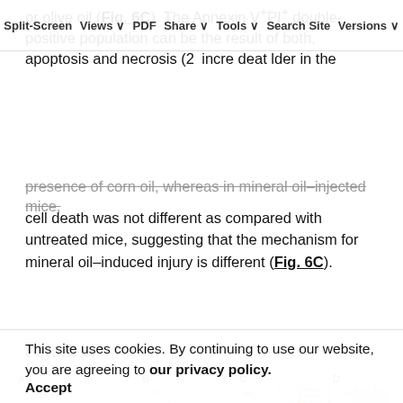or olive oil (Fig. 6C). The Annexin V+PI+ double-positive population can be the result of both, apoptosis and necrosis (2... increased cell death... in the presence of corn oil, whereas in mineral oil–injected mice, cell death was not different as compared with untreated mice, suggesting that the mechanism for mineral oil–induced injury is different (Fig. 6C).
Split-Screen | Views | PDF | Share | Tools | Search Site | Versions
Figure 6.
[Figure (other): Figure 6 panels A, B, C, D showing experimental diagrams and stacked bar charts of macrophage percentages and cell death measurements with Annexin V staining. Panel A: i.p. (100 µL) injection followed by Analysis after 5 min schematic. Panel B: Bar chart of macrophages (%). Panel C: Stacked bar chart of % of total cells with Annexin V+PI-, Annexin V+PI+, Annexin V-PI, Annexin V-PI- legend. Panel D: Stacked bar chart of % cells.]
This site uses cookies. By continuing to use our website, you are agreeing to our privacy policy. Accept